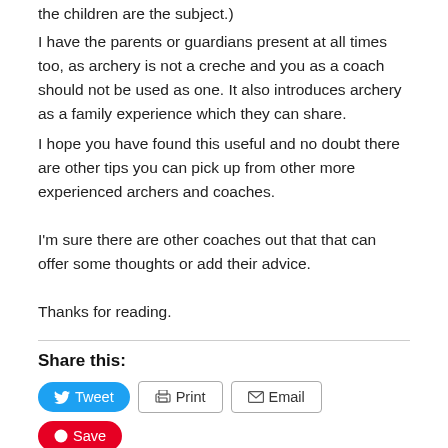the children are the subject.
I have the parents or guardians present at all times too, as archery is not a creche and you as a coach should not be used as one. It also introduces archery as a family experience which they can share.
I hope you have found this useful and no doubt there are other tips you can pick up from other more experienced archers and coaches.
I'm sure there are other coaches out that that can offer some thoughts or add their advice.
Thanks for reading.
Share this:
Tweet  Print  Email  Save  Post